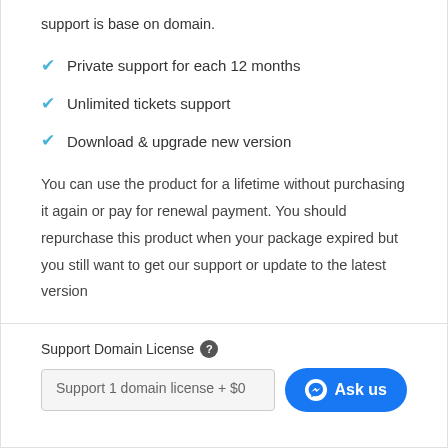support is base on domain.
Private support for each 12 months
Unlimited tickets support
Download & upgrade new version
You can use the product for a lifetime without purchasing it again or pay for renewal payment. You should repurchase this product when your package expired but you still want to get our support or update to the latest version
Support Domain License
Support 1 domain license + $0